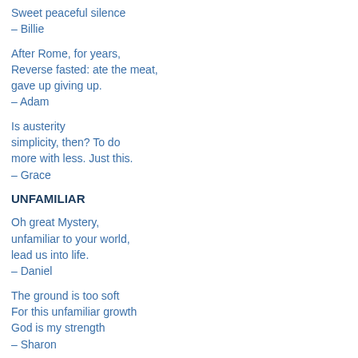Sweet peaceful silence
– Billie
After Rome, for years,
Reverse fasted: ate the meat,
gave up giving up.
– Adam
Is austerity
simplicity, then? To do
more with less. Just this.
– Grace
UNFAMILIAR
Oh great Mystery,
unfamiliar to your world,
lead us into life.
– Daniel
The ground is too soft
For this unfamiliar growth
God is my strength
– Sharon
The unfamiliar